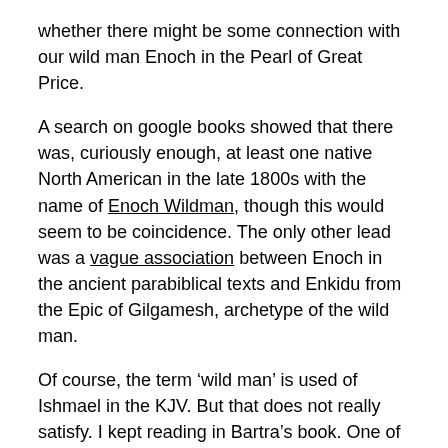whether there might be some connection with our wild man Enoch in the Pearl of Great Price.
A search on google books showed that there was, curiously enough, at least one native North American in the late 1800s with the name of Enoch Wildman, though this would seem to be coincidence. The only other lead was a vague association between Enoch in the ancient parabiblical texts and Enkidu from the Epic of Gilgamesh, archetype of the wild man.
Of course, the term ‘wild man’ is used of Ishmael in the KJV. But that does not really satisfy. I kept reading in Bartra’s book. One of the wild men he discusses is the famed sorcerer Merlin. Grieved at the death of his brothers, Merlin takes to life in the forest. When dragged back to civilization he is found to possess the ability to reveal the past and future. He escapes once more to the